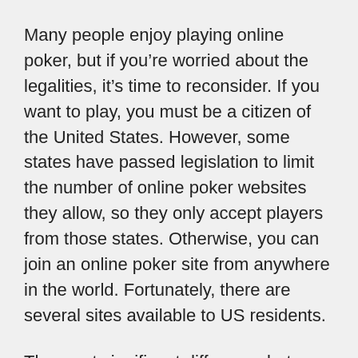Many people enjoy playing online poker, but if you're worried about the legalities, it's time to reconsider. If you want to play, you must be a citizen of the United States. However, some states have passed legislation to limit the number of online poker websites they allow, so they only accept players from those states. Otherwise, you can join an online poker site from anywhere in the world. Fortunately, there are several sites available to US residents.
The most significant difference between real-world poker and online poker is age. All players must be at least 18 years old or the legal age in their jurisdiction. Some sites require that you create an account to play, so it is important to make sure you're of legal age before downloading the software. Once you've established that you're of legal age, you can download the software and start playing. You can